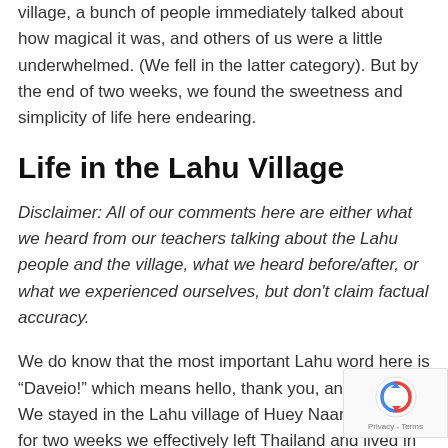village, a bunch of people immediately talked about how magical it was, and others of us were a little underwhelmed. (We fell in the latter category). But by the end of two weeks, we found the sweetness and simplicity of life here endearing.
Life in the Lahu Village
Disclaimer: All of our comments here are either what we heard from our teachers talking about the Lahu people and the village, what we heard before/after, or what we experienced ourselves, but don't claim factual accuracy.
We do know that the most important Lahu word here is “Daveio!” which means hello, thank you, and goodbye. We stayed in the Lahu village of Huey Naam Rin, and for two weeks we effectively left Thailand and lived in the land of